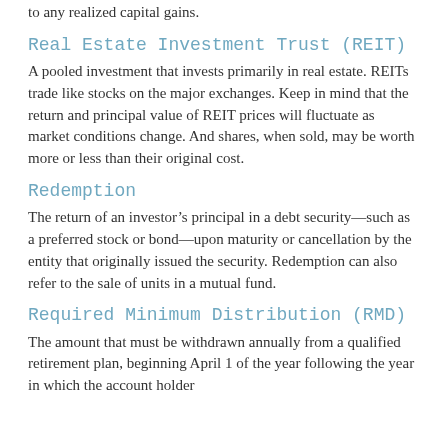to any realized capital gains.
Real Estate Investment Trust (REIT)
A pooled investment that invests primarily in real estate. REITs trade like stocks on the major exchanges. Keep in mind that the return and principal value of REIT prices will fluctuate as market conditions change. And shares, when sold, may be worth more or less than their original cost.
Redemption
The return of an investor’s principal in a debt security—such as a preferred stock or bond—upon maturity or cancellation by the entity that originally issued the security. Redemption can also refer to the sale of units in a mutual fund.
Required Minimum Distribution (RMD)
The amount that must be withdrawn annually from a qualified retirement plan, beginning April 1 of the year following the year in which the account holder reaches...